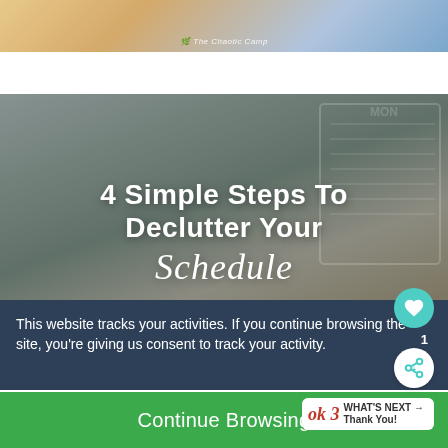[Figure (photo): Top strip: partial photo showing warm yellow/blue tones, appears to be a lifestyle/blog image with watermark 'The Chaotic Camp']
[Figure (photo): Main blog post thumbnail image: person writing in a planner/schedule book, overlaid with white text reading '4 Simple Steps To Declutter Your Schedule' with 'Schedule' in script font. Dark semi-transparent overlay on the photo.]
This website tracks your activities. If you continue browsing the site, you're giving us consent to track your activity.
Continue Browsing